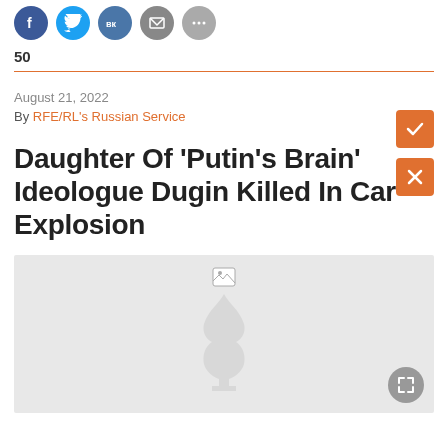[Figure (other): Social media share icons: Facebook, Twitter, VK, Email, More]
50
August 21, 2022
By RFE/RL's Russian Service
Daughter Of 'Putin's Brain' Ideologue Dugin Killed In Car Explosion
[Figure (photo): Image placeholder with broken image icon and RFE/RL watermark logo, with expand button]